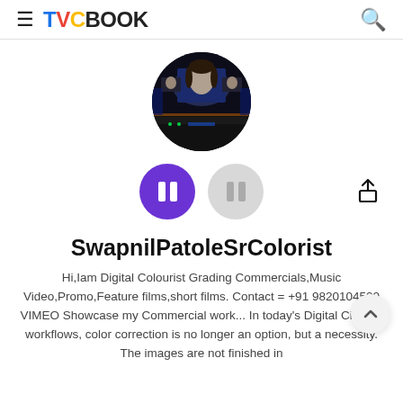TVCBOOK
[Figure (photo): Circular profile photo showing a colorist workspace with multiple video screens displaying a woman's face, dark background with colorful lighting]
[Figure (other): Two circular buttons: a purple button with two white bars (pause icon) and a gray button with two gray bars. A share/upload icon to the right.]
SwapnilPatoleSrColorist
Hi,Iam Digital Colourist Grading Commercials,Music Video,Promo,Feature films,short films. Contact = +91 9820104500 VIMEO Showcase my Commercial work... In today's Digital Cinema workflows, color correction is no longer an option, but a necessity. The images are not finished in